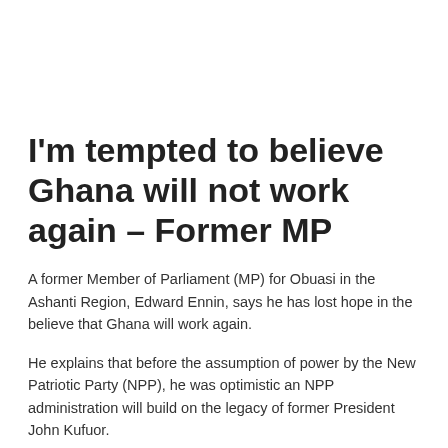I'm tempted to believe Ghana will not work again – Former MP
A former Member of Parliament (MP) for Obuasi in the Ashanti Region, Edward Ennin, says he has lost hope in the believe that Ghana will work again.
He explains that before the assumption of power by the New Patriotic Party (NPP), he was optimistic an NPP administration will build on the legacy of former President John Kufuor.
But he says the current state of the country has dashed his hopes for a better Ghana.